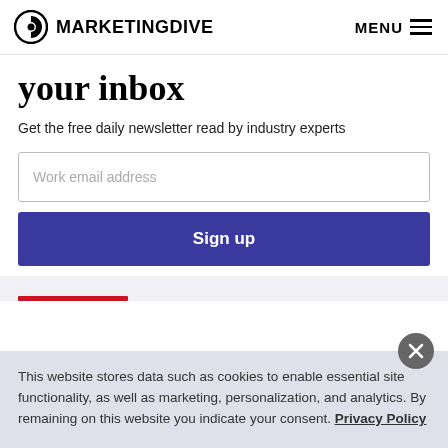MARKETING DIVE | MENU
your inbox
Get the free daily newsletter read by industry experts
Work email address
Sign up
This website stores data such as cookies to enable essential site functionality, as well as marketing, personalization, and analytics. By remaining on this website you indicate your consent. Privacy Policy